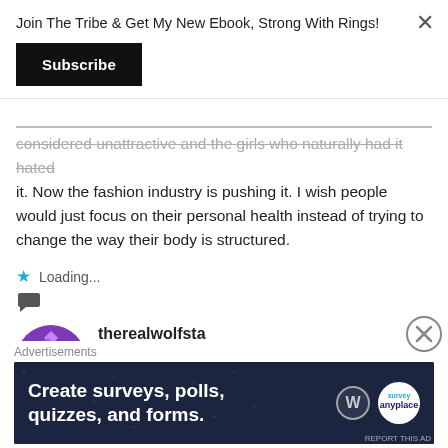Join The Tribe & Get My New Ebook, Strong With Rings!
[Figure (other): Black Subscribe button]
considered unattractive and the girls who naturally had it hated it. Now the fashion industry is pushing it. I wish people would just focus on their personal health instead of trying to change the way their body is structured.
Loading...
[Figure (other): Reply arrow icon]
[Figure (other): Purple snowflake-pattern avatar for therealwolfsta]
therealwolfsta
FEBRUARY 8, 2015 AT 8:38 PM
Heyl
Advertisements
[Figure (other): Advertisement banner: Create surveys, polls, quizzes, and forms. Dark navy background with WordPress logo and Survey Anyplace logo.]